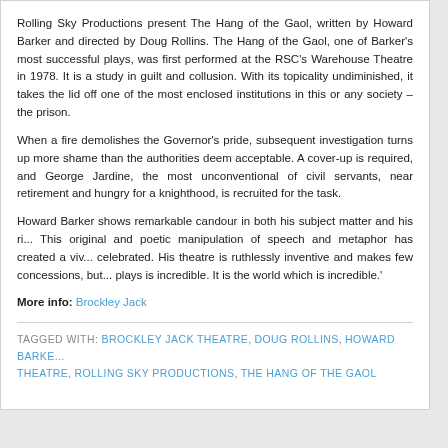Rolling Sky Productions present The Hang of the Gaol, written by Howard Barker and directed by Doug Rollins. The Hang of the Gaol, one of Barker's most successful plays, was first performed at the RSC's Warehouse Theatre in 1978. It is a study in guilt and collusion. With its topicality undiminished, it takes the lid off one of the most enclosed institutions in this or any society – the prison.
When a fire demolishes the Governor's pride, subsequent investigation turns up more shame than the authorities deem acceptable. A cover-up is required, and George Jardine, the most unconventional of civil servants, near retirement and hungry for a knighthood, is recruited for the task.
Howard Barker shows remarkable candour in both his subject matter and his ri... This original and poetic manipulation of speech and metaphor has created a viv... celebrated. His theatre is ruthlessly inventive and makes few concessions, but... plays is incredible. It is the world which is incredible.'
More info: Brockley Jack
TAGGED WITH: BROCKLEY JACK THEATRE, DOUG ROLLINS, HOWARD BARKE... THEATRE, ROLLING SKY PRODUCTIONS, THE HANG OF THE GAOL